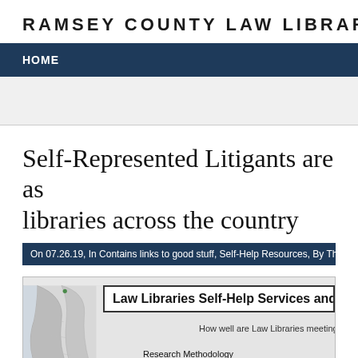RAMSEY COUNTY LAW LIBRAR
HOME
Self-Represented Litigants are as libraries across the country
On 07.26.19, In Contains links to good stuff, Self-Help Resources, By The Law Libra
[Figure (other): Law Libraries Self-Help Services and survey infographic showing a map background with text 'Law Libraries Self-Help Services and...' with subtitle 'How well are Law Libraries meeting t...' and Research Methodology section beginning 'In April 2019, a 29-question survey was widely distributed to AALL membership and Self-']